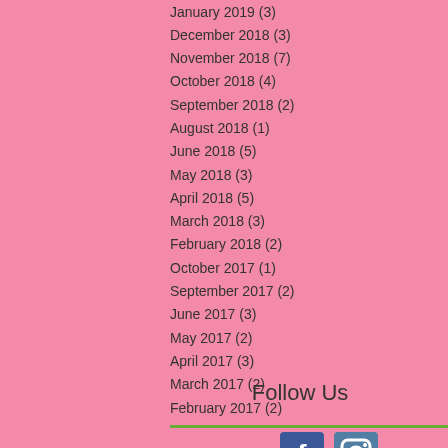January 2019 (3)
December 2018 (3)
November 2018 (7)
October 2018 (4)
September 2018 (2)
August 2018 (1)
June 2018 (5)
May 2018 (3)
April 2018 (5)
March 2018 (3)
February 2018 (2)
October 2017 (1)
September 2017 (2)
June 2017 (3)
May 2017 (2)
April 2017 (3)
March 2017 (2)
February 2017 (2)
Follow Us
[Figure (logo): Facebook and Instagram social media icons]